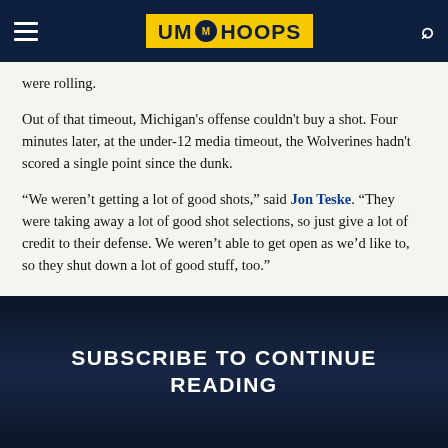UM Hoops
were rolling.
Out of that timeout, Michigan's offense couldn't buy a shot. Four minutes later, at the under-12 media timeout, the Wolverines hadn't scored a single point since the dunk.
“We weren't getting a lot of good shots,” said Jon Teske. “They were taking away a lot of good shot selections, so just give a lot of credit to their defense. We weren't able to get open as we'd like to, so they shut down a lot of good stuff, too.”
SUBSCRIBE TO CONTINUE READING